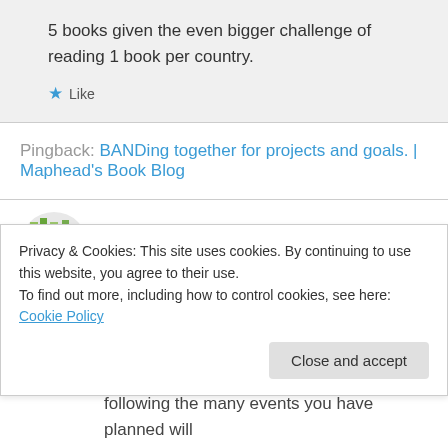5 books given the even bigger challenge of reading 1 book per country.
Like
Pingback: BANDing together for projects and goals. | Maphead's Book Blog
Edi on January 21, 2012 at 5:58 pm
I'm awful with challenges! I sign up and forget all
Privacy & Cookies: This site uses cookies. By continuing to use this website, you agree to their use. To find out more, including how to control cookies, see here: Cookie Policy
Close and accept
following the many events you have planned will